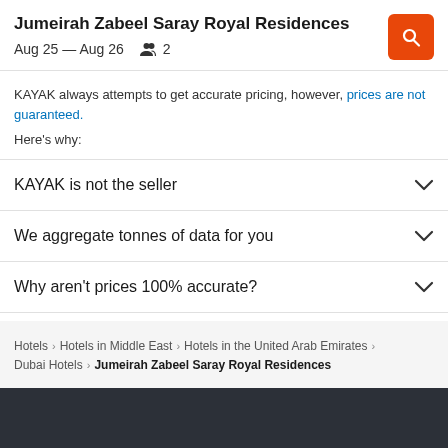Jumeirah Zabeel Saray Royal Residences
Aug 25 — Aug 26   👥 2
KAYAK always attempts to get accurate pricing, however, prices are not guaranteed.
Here's why:
KAYAK is not the seller
We aggregate tonnes of data for you
Why aren't prices 100% accurate?
Hotels › Hotels in Middle East › Hotels in the United Arab Emirates › Dubai Hotels › Jumeirah Zabeel Saray Royal Residences